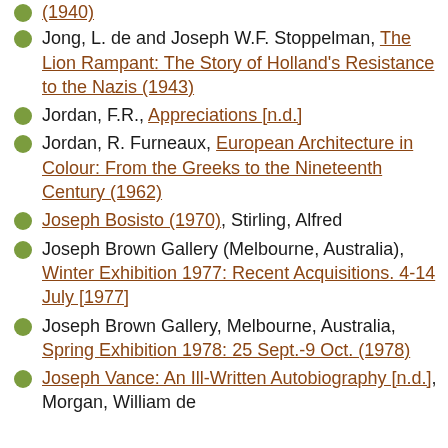(1940)
Jong, L. de and Joseph W.F. Stoppelman, The Lion Rampant: The Story of Holland's Resistance to the Nazis (1943)
Jordan, F.R., Appreciations [n.d.]
Jordan, R. Furneaux, European Architecture in Colour: From the Greeks to the Nineteenth Century (1962)
Joseph Bosisto (1970), Stirling, Alfred
Joseph Brown Gallery (Melbourne, Australia), Winter Exhibition 1977: Recent Acquisitions. 4-14 July [1977]
Joseph Brown Gallery, Melbourne, Australia, Spring Exhibition 1978: 25 Sept.-9 Oct. (1978)
Joseph Vance: An Ill-Written Autobiography [n.d.], Morgan, William de